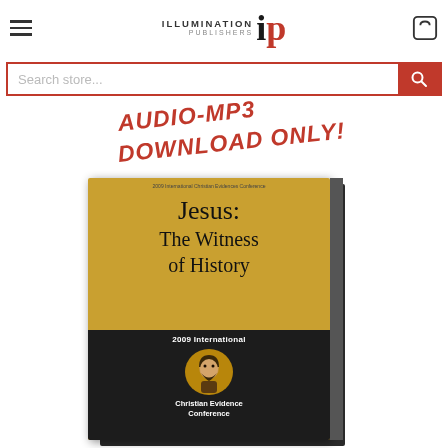Illumination Publishers
Search store...
AUDIO-MP3 DOWNLOAD ONLY!
[Figure (photo): CD/MP3 case for 'Jesus: The Witness of History' - 2009 International Christian Evidences Conference audio product]